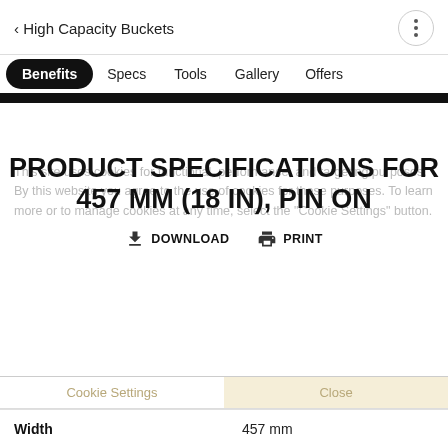< High Capacity Buckets
Benefits  Specs  Tools  Gallery  Offers
This site uses cookies for functional, performance, and targeting purposes. By this website you agree to the use of cookies for these purposes. To learn more or to manage cookies at any time, select the "Cookie Settings" button.
PRODUCT SPECIFICATIONS FOR 457 MM (18 IN), PIN ON
DOWNLOAD  PRINT
Cookie Settings  Close
| Width | 457 mm |
| --- | --- |
| Width | 457 mm |